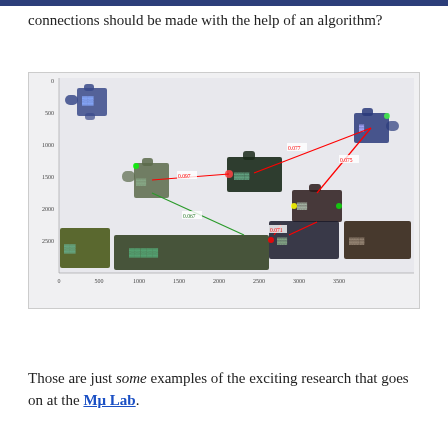connections should be made with the help of an algorithm?
[Figure (other): Scatter plot showing puzzle pieces positioned in 2D space (coordinates 0-3500 on both axes). Several puzzle piece images are placed at various coordinates, connected by red and green lines with labeled distances (0.077, 0.075, 0.097, 0.067, 0.071). The plot has axis ticks at 0, 500, 1000, 1500, 2000, 2500, 3000, 3500.]
Those are just some examples of the exciting research that goes on at the Mμ Lab.